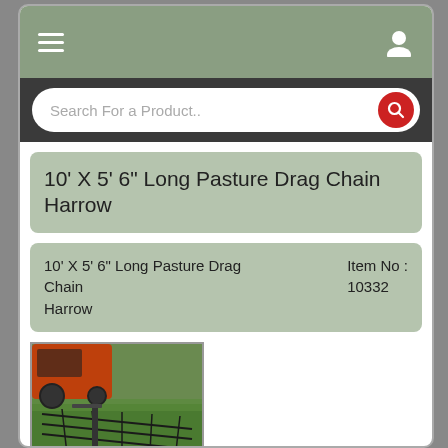[Figure (screenshot): Mobile app screenshot showing a product listing page for a pasture drag chain harrow]
10' X 5' 6" Long Pasture Drag Chain Harrow
| Product Name | Item No |
| --- | --- |
| 10' X 5' 6" Long Pasture Drag Chain Harrow | 10332 |
[Figure (photo): Photo of a chain harrow being dragged over green pasture grass by a tractor]
$ 970.00
Buy
What tools do I need to assemble the chain harrow to get ready to use ?